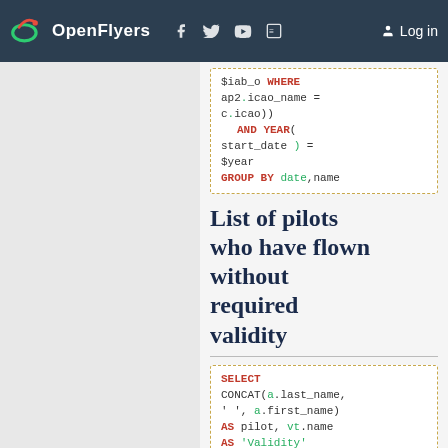OpenFlyers | Log in
$iab_o WHERE ap2.icao_name = c.icao)) AND YEAR( start_date ) = $year GROUP BY date, name
List of pilots who have flown without required validity
SELECT CONCAT(a.last_name, ' ', a.first_name) AS pilot, vt.name AS 'Validity' FROM flight_type_mandatory_va